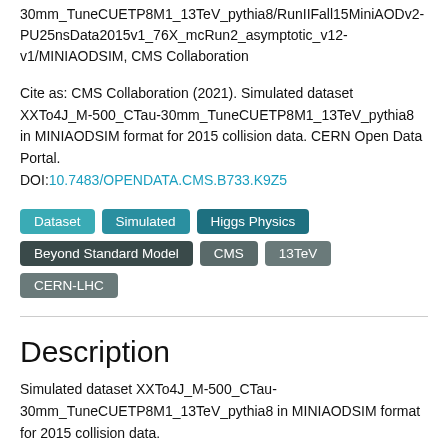30mm_TuneCUETP8M1_13TeV_pythia8/RunIIFall15MiniAODv2-PU25nsData2015v1_76X_mcRun2_asymptotic_v12-v1/MINIAODSIM, CMS Collaboration
Cite as: CMS Collaboration (2021). Simulated dataset XXTo4J_M-500_CTau-30mm_TuneCUETP8M1_13TeV_pythia8 in MINIAODSIM format for 2015 collision data. CERN Open Data Portal. DOI:10.7483/OPENDATA.CMS.B733.K9Z5
Dataset
Simulated
Higgs Physics
Beyond Standard Model
CMS
13TeV
CERN-LHC
Description
Simulated dataset XXTo4J_M-500_CTau-30mm_TuneCUETP8M1_13TeV_pythia8 in MINIAODSIM format for 2015 collision data.